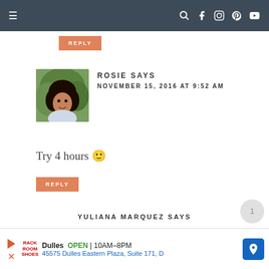Navigation bar with hamburger menu and social icons
REPLY
ROSIE SAYS
NOVEMBER 15, 2016 AT 9:52 AM
Try 4 hours 🙂
REPLY
YULIANA MARQUEZ SAYS
[Figure (screenshot): Advertisement bar: Dulles store, OPEN 10AM-8PM, 45575 Dulles Eastern Plaza, Suite 171, D]